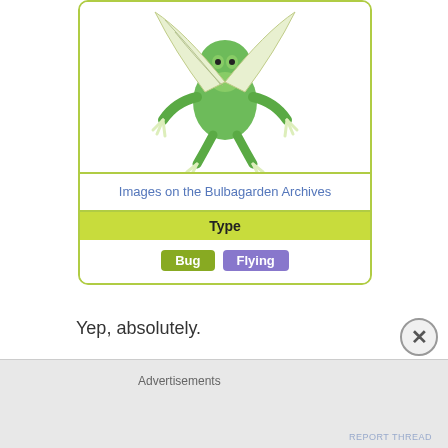[Figure (illustration): Green insect/bug-type pokemon illustration (Flygon-like creature with large white wings, green body, claws), shown against white background inside a yellow-green bordered card box]
Images on the Bulbagarden Archives
| Type |
| --- |
| Bug | Flying |
Yep, absolutely.
The fetish for restricted partners is bondage.
Advertisements